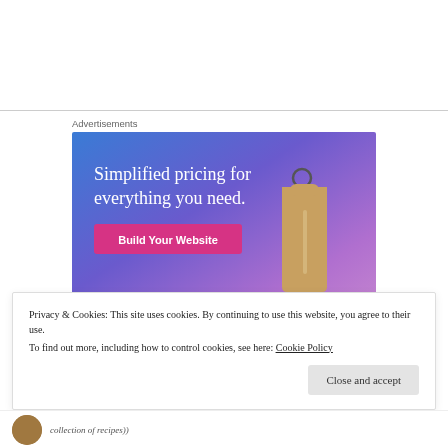Advertisements
[Figure (illustration): Advertisement banner with blue-purple gradient background, text 'Simplified pricing for everything you need.', a pink 'Build Your Website' button, and a price tag illustration on the right.]
Privacy & Cookies: This site uses cookies. By continuing to use this website, you agree to their use.
To find out more, including how to control cookies, see here: Cookie Policy
Close and accept